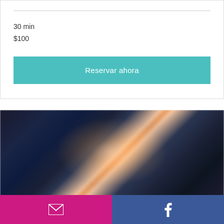30 min
$100
Reservar ahora
[Figure (photo): Dark blurred photo of people/crowd with a bright light flare in the center, dark tones of blue and grey]
BABY TALK
[Figure (other): Bottom navigation bar with email icon on pink/magenta background (left) and Facebook icon on blue background (right)]